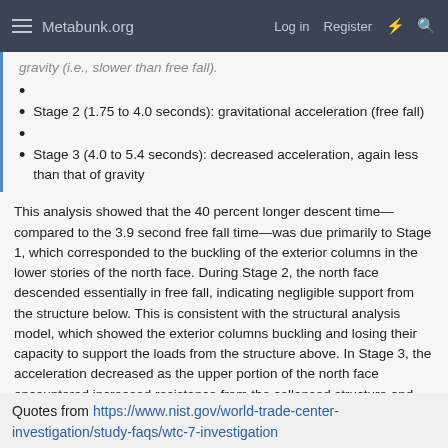Metabunk.org   Log in   Register
gravity (i.e., slower than free fall).
Stage 2 (1.75 to 4.0 seconds): gravitational acceleration (free fall)
Stage 3 (4.0 to 5.4 seconds): decreased acceleration, again less than that of gravity
This analysis showed that the 40 percent longer descent time—compared to the 3.9 second free fall time—was due primarily to Stage 1, which corresponded to the buckling of the exterior columns in the lower stories of the north face. During Stage 2, the north face descended essentially in free fall, indicating negligible support from the structure below. This is consistent with the structural analysis model, which showed the exterior columns buckling and losing their capacity to support the loads from the structure above. In Stage 3, the acceleration decreased as the upper portion of the north face encountered increased resistance from the collapsed structure and the debris pile below.
Quotes from https://www.nist.gov/world-trade-center-investigation/study-faqs/wtc-7-investigation